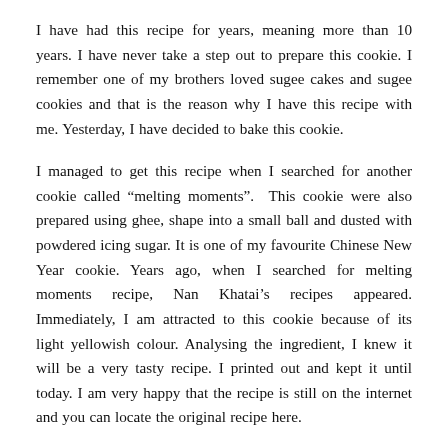I have had this recipe for years, meaning more than 10 years. I have never take a step out to prepare this cookie. I remember one of my brothers loved sugee cakes and sugee cookies and that is the reason why I have this recipe with me. Yesterday, I have decided to bake this cookie.
I managed to get this recipe when I searched for another cookie called “melting moments”. This cookie were also prepared using ghee, shape into a small ball and dusted with powdered icing sugar. It is one of my favourite Chinese New Year cookie. Years ago, when I searched for melting moments recipe, Nan Khatai’s recipes appeared. Immediately, I am attracted to this cookie because of its light yellowish colour. Analysing the ingredient, I knew it will be a very tasty recipe. I printed out and kept it until today. I am very happy that the recipe is still on the internet and you can locate the original recipe here.